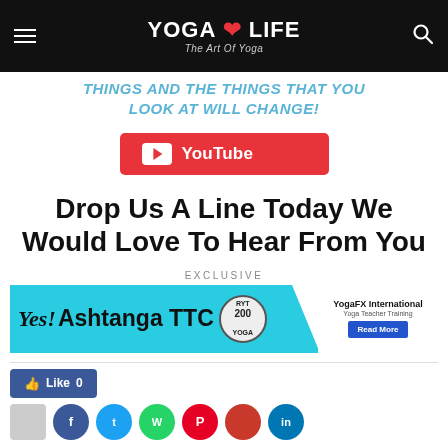YOGA LIFE - The Art Of Yoga
THINGS AND THE THINGS THAT YOU LOOK AT WILL CHANGE!
[Figure (logo): YouTube button logo]
Drop Us A Line Today We Would Love To Hear From You
EXCLUSIVE
[Figure (infographic): Ashtanga TTC advertisement banner - YogaFX International Yoga Teacher Training RYT 200, Read More]
Like 0
[Figure (infographic): Social share buttons row: gray, Facebook, Twitter, WhatsApp, Pinterest, Reddit, LinkedIn circles]